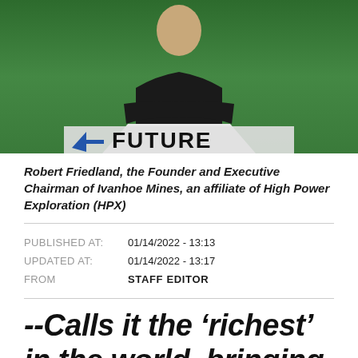[Figure (photo): Photo of Robert Friedland at a podium in front of a green background with a sign reading 'FUTURE' and an arrow logo]
Robert Friedland, the Founder and Executive Chairman of Ivanhoe Mines, an affiliate of High Power Exploration (HPX)
PUBLISHED AT: 01/14/2022 - 13:13
UPDATED AT: 01/14/2022 - 13:17
FROM STAFF EDITOR
--Calls it the ‘richest’ in the world, bringing investors’ attention to Liberia and Guinea